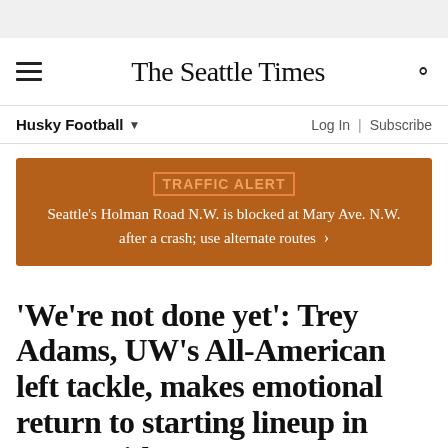The Seattle Times
Husky Football ▼
Log In | Subscribe
TRAFFIC ALERT
Seattle's Holman Road N.W. is blocked at Mary Ave. N.W. after a crash; use alternate routes ›
'We're not done yet': Trey Adams, UW's All-American left tackle, makes emotional return to starting lineup in Pac-12 title game